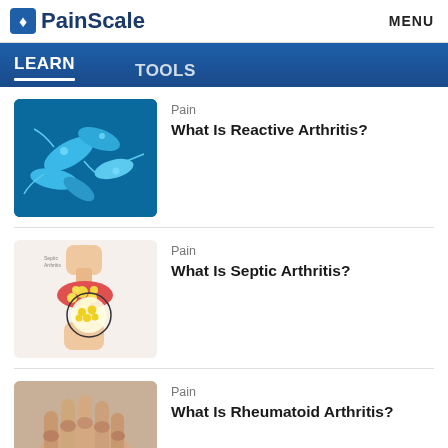PainScale | MENU
LEARN | TOOLS
[Figure (illustration): Blue microscopic bacteria/organism illustration for Reactive Arthritis article]
Pain
What Is Reactive Arthritis?
[Figure (illustration): Medical illustration of a joint with septic arthritis inflammation]
Pain
What Is Septic Arthritis?
[Figure (photo): Photo of elderly hands showing signs of rheumatoid arthritis]
Pain
What Is Rheumatoid Arthritis?